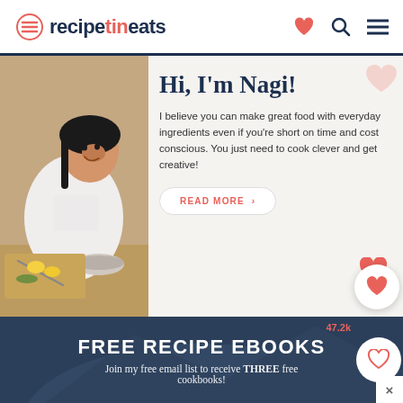recipetineats
[Figure (photo): Photo of Nagi, a smiling Asian woman in a white graphic t-shirt, standing at a kitchen counter with vegetables and bowls]
Hi, I'm Nagi!
I believe you can make great food with everyday ingredients even if you're short on time and cost conscious. You just need to cook clever and get creative!
READ MORE >
FREE RECIPE EBOOKS
Join my free email list to receive THREE free cookbooks!
47.2k